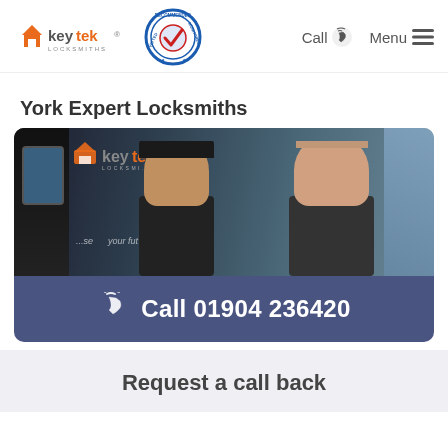Keytek Locksmiths — Recommended Vetted Monitored — Call | Menu
York Expert Locksmiths
[Figure (photo): Two locksmiths smiling in front of a Keytek branded van with tagline '...securing your future']
Call 01904 236420
Request a call back